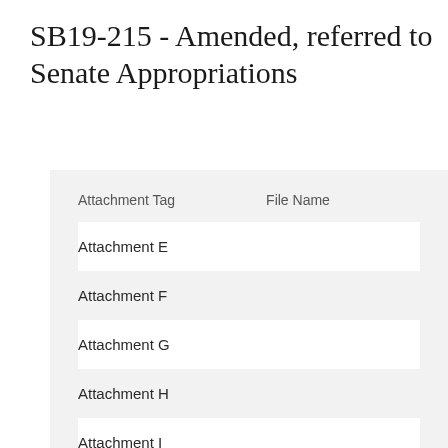SB19-215 - Amended, referred to Senate Appropriations
| Attachment Tag | File Name |
| --- | --- |
| Attachment E |  |
| Attachment F |  |
| Attachment G |  |
| Attachment H |  |
| Attachment I |  |